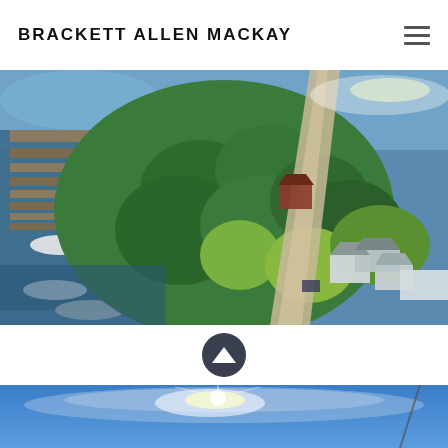BRACKETT ALLEN MACKAY
[Figure (photo): Aerial drone photograph of a forested peninsula or island with a marina/dock on the left side showing multiple boats, dense green trees in the center, a road running through, and residential buildings with grey roofs on the right, surrounded by blue water.]
[Figure (other): Dark circular upward-chevron/caret button for scrolling up]
[Figure (photo): Partial aerial or wide-angle photo of a bright sky with sun glare and a thin vertical structure (mast or pole) on the right side.]